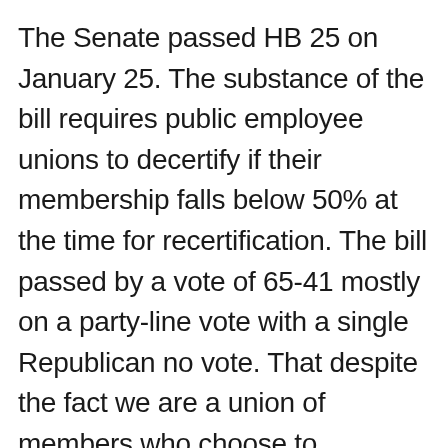The Senate passed HB 25 on January 25. The substance of the bill requires public employee unions to decertify if their membership falls below 50% at the time for recertification. The bill passed by a vote of 65-41 mostly on a party-line vote with a single Republican no vote. That despite the fact we are a union of members who choose to participate – no one can be forced to join our union. Florida is a right-to-work state where union membership or payment of union dues cannot be compelled. The Florida Constitution gives employees the right to join a union to give